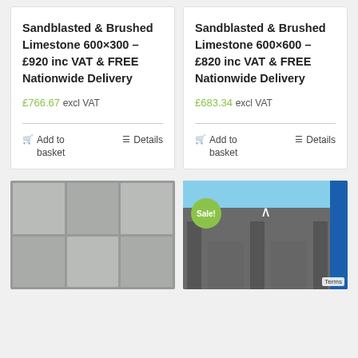Sandblasted & Brushed Limestone 600×300 – £920 inc VAT & FREE Nationwide Delivery
£766.67 excl VAT
Add to basket   Details
Sandblasted & Brushed Limestone 600×600 – £820 inc VAT & FREE Nationwide Delivery
£683.34 excl VAT
Add to basket   Details
[Figure (photo): Stone/limestone tiles in a grey sandblasted and brushed finish, arranged in a 3×2 grid pattern]
[Figure (photo): Outdoor scene showing dark grey fencing panels/posts in front of a brick wall and blue sky. A green 'Sale!' badge is visible in the upper left. A 'Terms' label is in the lower right corner.]